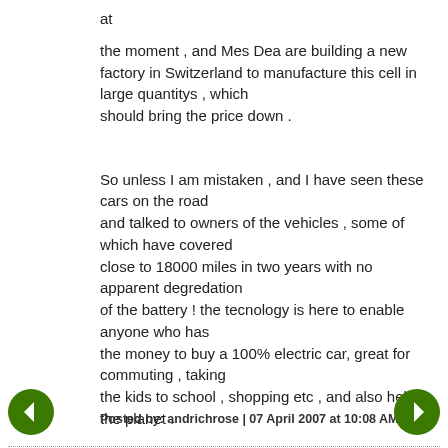at
the moment , and Mes Dea are building a new factory in Switzerland to manufacture this cell in large quantitys , which
should bring the price down .

So unless I am mistaken , and I have seen these cars on the road
and talked to owners of the vehicles , some of which have covered
close to 18000 miles in two years with no apparent degredation
of the battery ! the tecnology is here to enable anyone who has
the money to buy a 100% electric car, great for commuting , taking
the kids to school , shopping etc , and also help the planet .
Posted by: andrichrose | 07 April 2007 at 10:08 AM